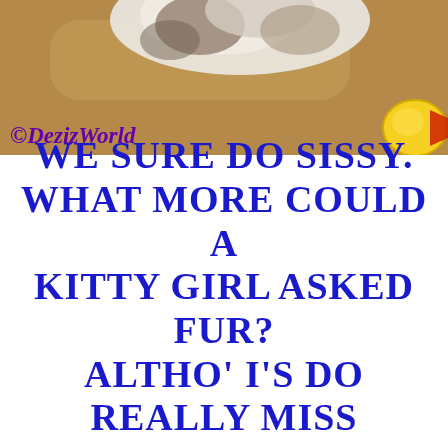[Figure (photo): Photo of a cat on sandy/tan carpet with a yellow toy in the corner. The image has a '©DezizWorld' watermark in purple italic script at the bottom left.]
WE SURE DO SISSY. WHAT MORE COULD A KITTY GIRL ASKED FUR? ALTHO' I'S DO REALLY MISS